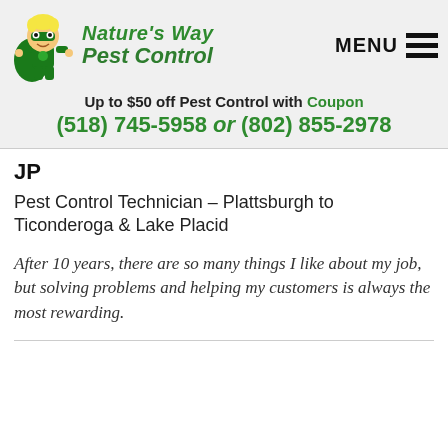[Figure (logo): Nature's Way Pest Control logo featuring a cartoon superhero child wearing a green cape and mask, with the company name 'Nature's Way Pest Control' in green italic text beside it, and a hamburger menu icon with MENU text on the right]
Up to $50 off Pest Control with Coupon
(518) 745-5958 or (802) 855-2978
JP
Pest Control Technician – Plattsburgh to Ticonderoga & Lake Placid
After 10 years, there are so many things I like about my job, but solving problems and helping my customers is always the most rewarding.